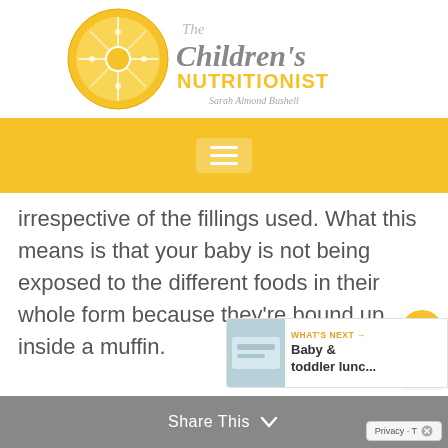[Figure (logo): The Children's Nutritionist logo — orange citrus slice icon with cursive/serif text reading 'The Children's NUTRITIONIST' and subtitle 'Sarah Almond Bushell']
[Figure (screenshot): Yellow navigation bar with white hamburger menu icon in a semi-transparent box]
irrespective of the fillings used. What this means is that your baby is not being exposed to the different foods in their whole form because they're bound up inside a muffin.
[Figure (infographic): Side floating buttons: orange heart/like button, count '56', grey share button]
[Figure (screenshot): What's Next panel: thumbnail image of baby/toddler food, label 'WHAT'S NEXT →', title 'Baby & toddler lunc...']
Share This ∨
Privacy · T✕